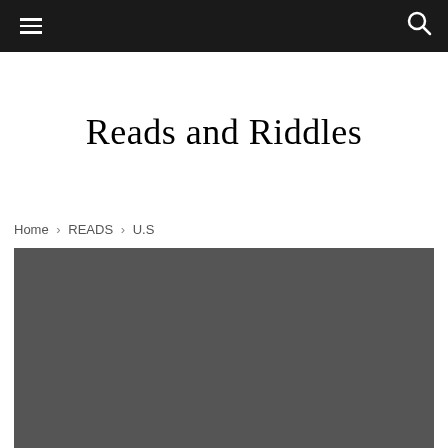≡  [navigation bar]  🔍
Reads and Riddles
Home › READS › U.S
[Figure (photo): Dark gray featured image placeholder at bottom of page]